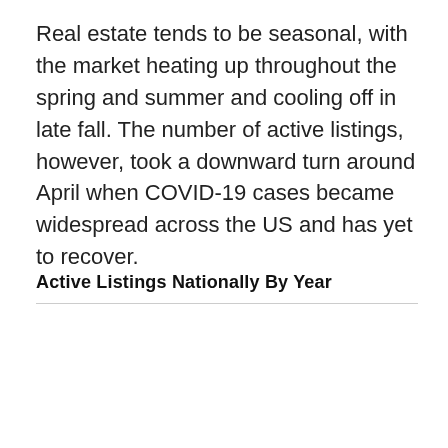Real estate tends to be seasonal, with the market heating up throughout the spring and summer and cooling off in late fall. The number of active listings, however, took a downward turn around April when COVID-19 cases became widespread across the US and has yet to recover.
Active Listings Nationally By Year